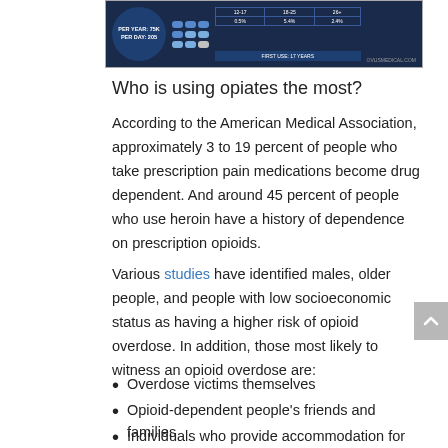[Figure (infographic): Infographic about opioid use statistics showing per year 75K, per day 205, with pill icons and table data, OVUSMEDICAL.COM branding]
Who is using opiates the most?
According to the American Medical Association, approximately 3 to 19 percent of people who take prescription pain medications become drug dependent. And around 45 percent of people who use heroin have a history of dependence on prescription opioids.
Various studies have identified males, older people, and people with low socioeconomic status as having a higher risk of opioid overdose. In addition, those most likely to witness an opioid overdose are:
Overdose victims themselves
Opioid-dependent people's friends and families
Individuals who provide accommodation for opioid